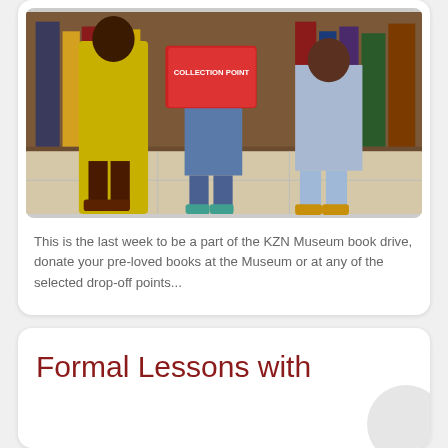[Figure (photo): Three people standing in what appears to a library or bookshop. One person on the left wears a yellow dress and brown heels. The middle person holds a red 'COLLECTION POINT' sign box and wears jeans and teal sneakers. The person on the right wears light blue jeans and yellow shoes. Bookshelves visible in the background.]
This is the last week to be a part of the KZN Museum book drive, donate your pre-loved books at the Museum or at any of the selected drop-off points...
Formal Lessons with